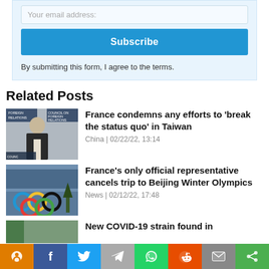Your email address:
Subscribe
By submitting this form, I agree to the terms.
Related Posts
[Figure (photo): Man in suit speaking at Council on Foreign Relations event]
France condemns any efforts to 'break the status quo' in Taiwan
China | 02/22/22, 13:14
[Figure (photo): Olympic rings with crowd in background]
France's only official representative cancels trip to Beijing Winter Olympics
News | 02/12/22, 17:48
[Figure (photo): Partial image, partially visible post thumbnail]
New COVID-19 strain found in